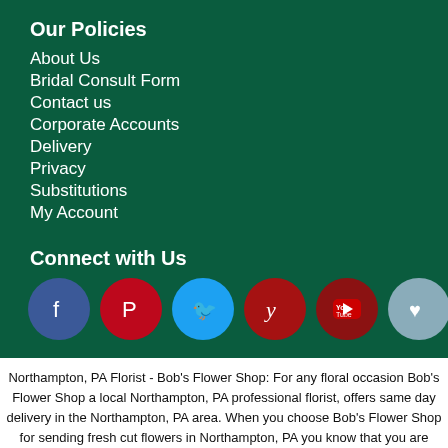Our Policies
About Us
Bridal Consult Form
Contact us
Corporate Accounts
Delivery
Privacy
Substitutions
My Account
Connect with Us
[Figure (other): Social media icons: Facebook, Pinterest, Twitter, Yelp, YouTube, Wishlist, SlideShare]
Northampton, PA Florist - Bob's Flower Shop: For any floral occasion Bob's Flower Shop a local Northampton, PA professional florist, offers same day delivery in the Northampton, PA area. When you choose Bob's Flower Shop for sending fresh cut flowers in Northampton, PA you know that you are choosing an experienced florist. Bob's Flower Shop flower bouquets are professionally arranged in a reusable vase. You can be